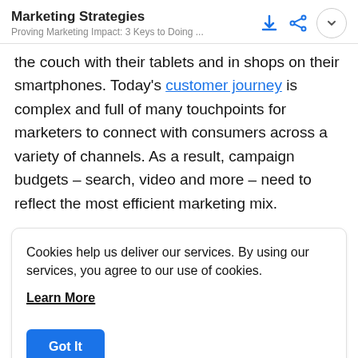Marketing Strategies
Proving Marketing Impact: 3 Keys to Doing ...
the couch with their tablets and in shops on their smartphones. Today's customer journey is complex and full of many touchpoints for marketers to connect with consumers across a variety of channels. As a result, campaign budgets – search, video and more – need to reflect the most efficient marketing mix.
Cookies help us deliver our services. By using our services, you agree to our use of cookies.
Learn More
Got It
pressure to prove value is all the more important because